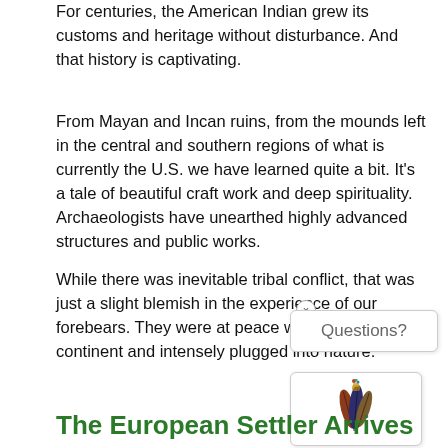For centuries, the American Indian grew its customs and heritage without disturbance. And that history is captivating.
From Mayan and Incan ruins, from the mounds left in the central and southern regions of what is currently the U.S. we have learned quite a bit. It's a tale of beautiful craft work and deep spirituality. Archaeologists have unearthed highly advanced structures and public works.
While there was inevitable tribal conflict, that was just a slight blemish in the experience of our forebears. They were at peace with this beautiful continent and intensely plugged into nature.
[Figure (other): A chat widget popup with an 'x' close button and 'Questions?' label, along with a feather logo icon below it]
The European Settler Arrives